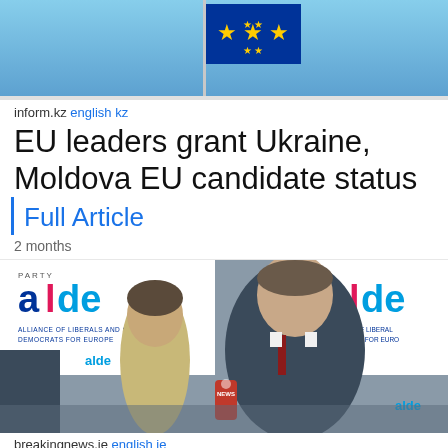[Figure (photo): EU flag on a flagpole against a blue sky background]
inform.kz english kz
EU leaders grant Ukraine, Moldova EU candidate status
Full Article
2 months
[Figure (photo): Man in dark suit speaking at ALDE (Alliance of Liberals and Democrats for Europe) press conference, with microphone labeled NEWS, and a woman in background]
breakingnews.ie english ie
partial headline text cut off at bottom